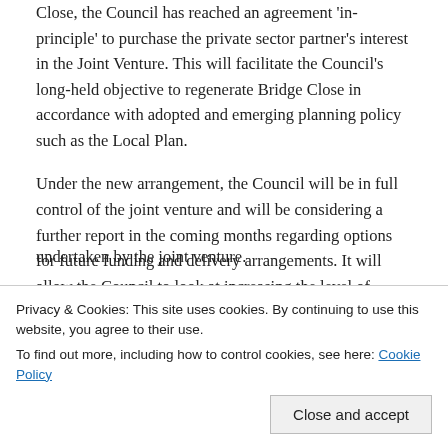Close, the Council has reached an agreement 'in-principle' to purchase the private sector partner's interest in the Joint Venture.  This will facilitate the Council's long-held objective to regenerate Bridge Close in accordance with adopted and emerging planning policy such as the Local Plan.
Under the new arrangement, the Council will be in full control of the joint venture and will be considering a further report in the coming months regarding options for future funding and delivery arrangements.  It will allow the Council to look at increasing the level of affordable housing for local people, beyond the current 30% allocation...
...undertaken by the joint venture.
Privacy & Cookies: This site uses cookies. By continuing to use this website, you agree to their use.
To find out more, including how to control cookies, see here: Cookie Policy